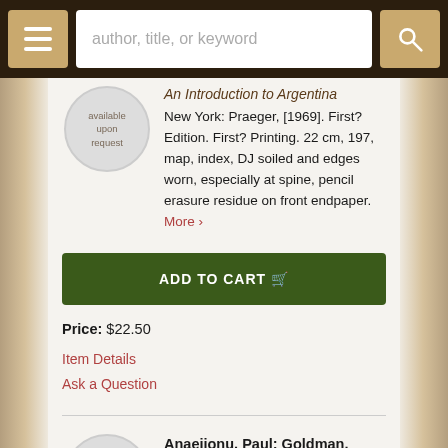author, title, or keyword
[Figure (illustration): Circular thumbnail placeholder with text 'available upon request']
An Introduction to Argentina
New York: Praeger, [1969]. First? Edition. First? Printing. 22 cm, 197, map, index, DJ soiled and edges worn, especially at spine, pencil erasure residue on front endpaper. More >
ADD TO CART
Price: $22.50
Item Details
Ask a Question
[Figure (illustration): Circular thumbnail placeholder with text 'image available']
Anaejionu, Paul; Goldman, Nathan C; and Meeks, Phillip J., eds.